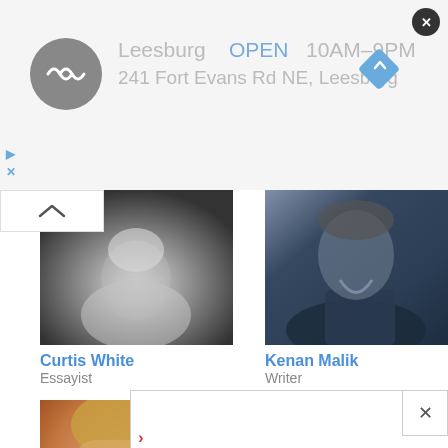[Figure (screenshot): Top banner advertisement showing Leesburg store with logo circle, OPEN hours 10AM-9PM, address 241 Fort Evans Rd NE Leesburg, navigation icon, and close button]
Leesburg  OPEN  10AM–9PM
241 Fort Evans Rd NE, Leesburg
[Figure (photo): Black and white close-up photo of older man in turtleneck sweater, from nose down]
Curtis White
Essayist
[Figure (photo): Color photo of man in dark zip-up jacket with light collar, upper body shot]
Kenan Malik
Writer
[Figure (photo): Color close-up photo of person with blond hair and wide eyes, warm tones]
[Figure (screenshot): White overlay popup box with close X button in upper right, and arrow icons on left side]